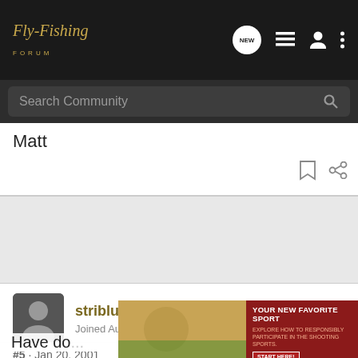Fly-Fishing Forum
Search Community
Matt
striblue · Banned
Joined Aug 10, 2000 · 7,518 Posts
#5 · Jan 20, 2001
Have do... ...at the
[Figure (screenshot): Advertisement banner: YOUR NEW FAVORITE SPORT - EXPLORE HOW TO RESPONSIBLY PARTICIPATE IN THE SHOOTING SPORTS. START HERE!]